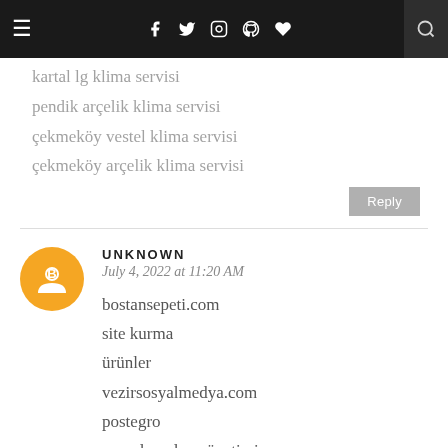≡  f  ✓  ☷  ℗  ♥  🔍
kartal lg klima servisi
pendik arçelik klima servisi
çekmeköy vestel klima servisi
çekmeköy arçelik klima servisi
Reply
UNKNOWN
July 4, 2022 at 11:20 AM
bostansepeti.com
site kurma
ürünler
vezirsosyalmedya.com
postegro
sosyal medya yönetimi